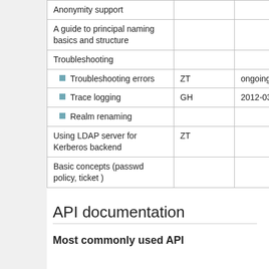| Topic | Owner | Date |  |
| --- | --- | --- | --- |
| Anonymity support |  |  |  |
| A guide to principal naming basics and structure |  |  |  |
| Troubleshooting |  |  |  |
| ■ Troubleshooting errors | ZT | ongoing |  |
| ■ Trace logging | GH | 2012-03-22 |  |
| ■ Realm renaming |  |  |  |
| Using LDAP server for Kerberos backend | ZT |  |  |
| Basic concepts (passwd policy, ticket ) |  |  |  |
API documentation
Most commonly used API